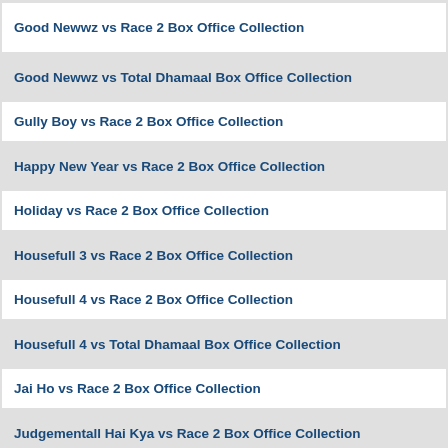Good Newwz vs Race 2 Box Office Collection
Good Newwz vs Total Dhamaal Box Office Collection
Gully Boy vs Race 2 Box Office Collection
Happy New Year vs Race 2 Box Office Collection
Holiday vs Race 2 Box Office Collection
Housefull 3 vs Race 2 Box Office Collection
Housefull 4 vs Race 2 Box Office Collection
Housefull 4 vs Total Dhamaal Box Office Collection
Jai Ho vs Race 2 Box Office Collection
Judgementall Hai Kya vs Race 2 Box Office Collection